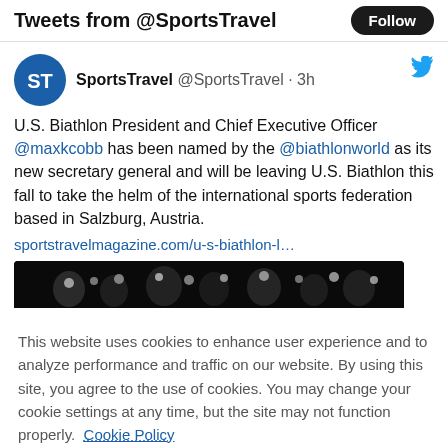Tweets from @SportsTravel
SportsTravel @SportsTravel · 3h
U.S. Biathlon President and Chief Executive Officer @maxkcobb has been named by the @biathlonworld as its new secretary general and will be leaving U.S. Biathlon this fall to take the helm of the international sports federation based in Salzburg, Austria.
sportstravelmagazine.com/u-s-biathlon-l…
[Figure (photo): Dark photograph strip showing people/event scene]
This website uses cookies to enhance user experience and to analyze performance and traffic on our website. By using this site, you agree to the use of cookies. You may change your cookie settings at any time, but the site may not function properly.  Cookie Policy
Close